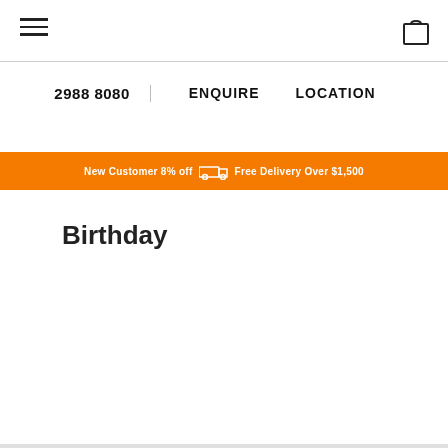Navigation header with hamburger menu and cart icon
2988 8080   ENQUIRE   LOCATION
New Customer 8% off  Free Delivery Over $1,500
Birthday